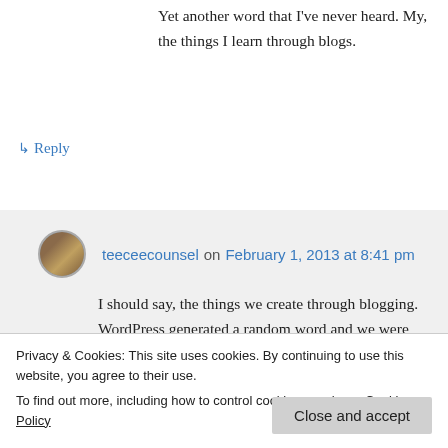Yet another word that I've never heard. My, the things I learn through blogs.
↳ Reply
teeceecounsel on February 1, 2013 at 8:41 pm
I should say, the things we create through blogging. WordPress generated a random word and we were prompted to give our own unique definitions. That's how
Privacy & Cookies: This site uses cookies. By continuing to use this website, you agree to their use. To find out more, including how to control cookies, see here: Cookie Policy
Close and accept